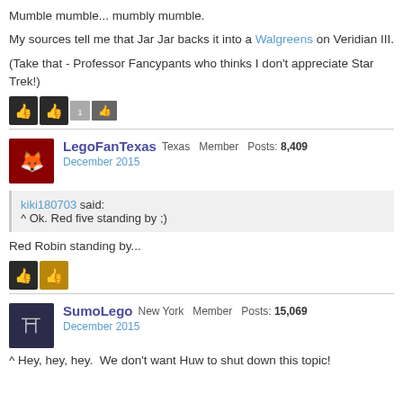Mumble mumble... mumbly mumble.
My sources tell me that Jar Jar backs it into a Walgreens on Veridian III.
(Take that - Professor Fancypants who thinks I don't appreciate Star Trek!)
[Figure (other): Reaction icons: thumbs up buttons]
LegoFanTexas  Texas  Member  Posts: 8,409
December 2015
kiki180703 said:
^ Ok. Red five standing by ;)
Red Robin standing by...
[Figure (other): Reaction icons: thumbs up buttons]
SumoLego  New York  Member  Posts: 15,069
December 2015
^ Hey, hey, hey.  We don't want Huw to shut down this topic!